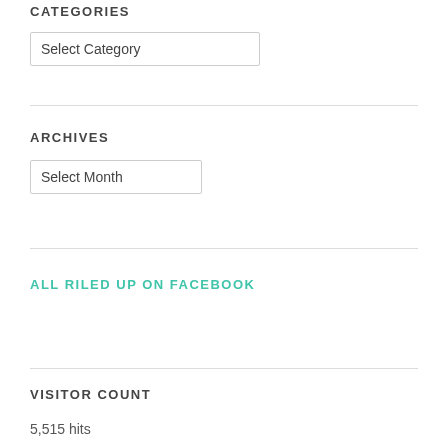CATEGORIES
Select Category
ARCHIVES
Select Month
ALL RILED UP ON FACEBOOK
VISITOR COUNT
5,515 hits